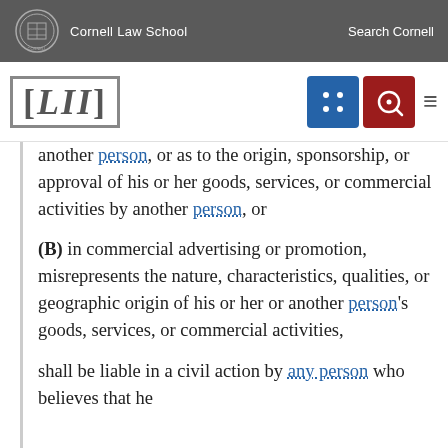Cornell Law School | Search Cornell
[Figure (logo): LII Legal Information Institute logo with navigation icons]
another person, or as to the origin, sponsorship, or approval of his or her goods, services, or commercial activities by another person, or
(B) in commercial advertising or promotion, misrepresents the nature, characteristics, qualities, or geographic origin of his or her or another person's goods, services, or commercial activities,
shall be liable in a civil action by any person who believes that he or she is likely to be damaged